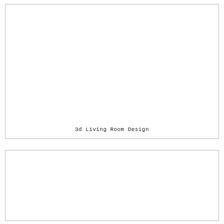[Figure (photo): Large white/blank image box with a thin border, containing a caption at the bottom: '3d Living Room Design']
3d Living Room Design
[Figure (photo): Second large white/blank image box with a thin border, partially visible at the bottom of the page]